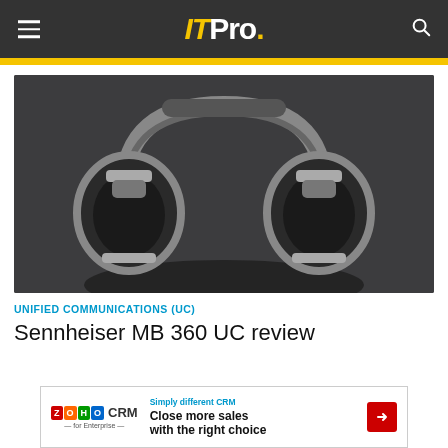IT Pro.
[Figure (photo): Product photo of Sennheiser MB 360 UC over-ear headphones on a dark grey background]
UNIFIED COMMUNICATIONS (UC)
Sennheiser MB 360 UC review
[Figure (other): Advertisement for Zoho CRM for Enterprise: Simply different CRM – Close more sales with the right choice]